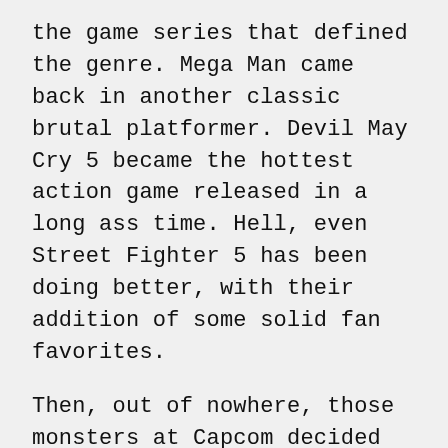the game series that defined the genre. Mega Man came back in another classic brutal platformer. Devil May Cry 5 became the hottest action game released in a long ass time. Hell, even Street Fighter 5 has been doing better, with their addition of some solid fan favorites.
Then, out of nowhere, those monsters at Capcom decided that it was time to resurrect Ghosts 'N Goblins of all things! And they did not pull their punches!
You'd think that they'd make the game more manageable. That it would take